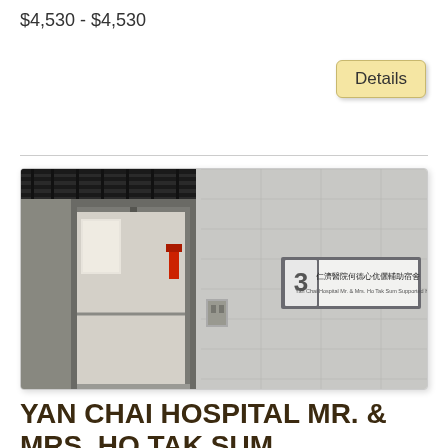$4,530 - $4,530
Details
[Figure (photo): Hospital corridor photo showing an elevator area and a sign on a tiled wall reading '仁濟醫院何德心伉儷輔助宿舍 Yan Chai Hospital Mr. & Mrs. Ho Tak Sum Supported Hostel' with a number 3 marker]
YAN CHAI HOSPITAL MR. & MRS. HO TAK SUM SUPPORTED HOSTEL